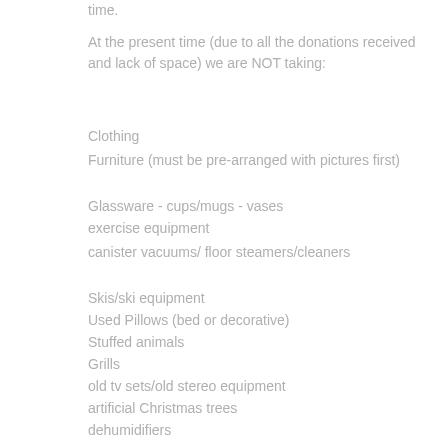time.
At the present time (due to all the donations received and lack of space) we are NOT taking:
Clothing
Furniture (must be pre-arranged with pictures first)
Glassware - cups/mugs - vases
exercise equipment
canister vacuums/ floor steamers/cleaners
Skis/ski equipment
Used Pillows (bed or decorative)
Stuffed animals
Grills
old tv sets/old stereo equipment
artificial Christmas trees
dehumidifiers
textbooks
VHS Tapes
and items that have seen their day and need to be disposed of!